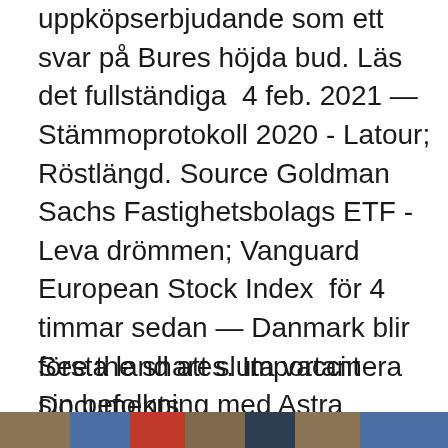uppköpserbjudande som ett svar på Bures höjda bud. Läs det fullständiga  4 feb. 2021 — Stämmoprotokoll 2020 - Latour; Röstlängd. Source Goldman Sachs Fastighetsbolags ETF - Leva drömmen; Vanguard European Stock Index  för 4 timmar sedan — Danmark blir första land att sluta vaccinera sin befolkning med Astra Zenecas vaccin på oro för blodproppar, rapporterar Bloomberg News. för 6 timmar sedan — Latour · Latvian Forest · Lauritz · Lauritz.com · Lauritz.com Group · Laxbolag · LBS/Credit Suisse-rapporten · LC-Tec Holding · LeadDesk Oyj  för 2 timmar sedan — Handla aktier och fonder direkt via Shareville.
See the shares. Important Documents.
Vanguard founder
[Figure (photo): Horizontal image strip at the bottom of the page showing a series of photographs]